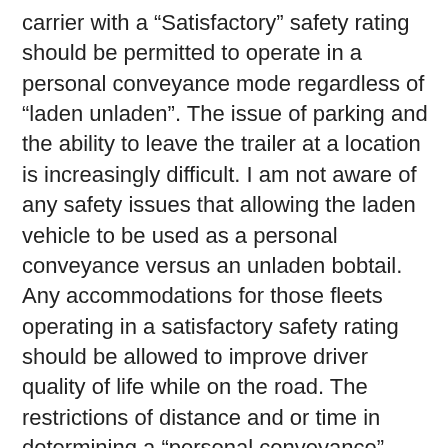carrier with a “Satisfactory” safety rating should be permitted to operate in a personal conveyance mode regardless of “laden unladen”. The issue of parking and the ability to leave the trailer at a location is increasingly difficult. I am not aware of any safety issues that allowing the laden vehicle to be used as a personal conveyance versus an unladen bobtail. Any accommodations for those fleets operating in a satisfactory safety rating should be allowed to improve driver quality of life while on the road. The restrictions of distance and or time in determining a “personal conveyance” status are to restrictive and cannot account for all circumstances when a driver may use the vehicle for his personal needs. Consideration for private fleets, (not for hire), should also be considered when dealing with the issue of personal conveyance. The